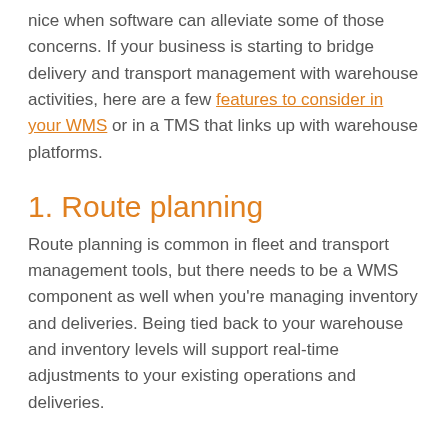nice when software can alleviate some of those concerns. If your business is starting to bridge delivery and transport management with warehouse activities, here are a few features to consider in your WMS or in a TMS that links up with warehouse platforms.
1. Route planning
Route planning is common in fleet and transport management tools, but there needs to be a WMS component as well when you're managing inventory and deliveries. Being tied back to your warehouse and inventory levels will support real-time adjustments to your existing operations and deliveries.